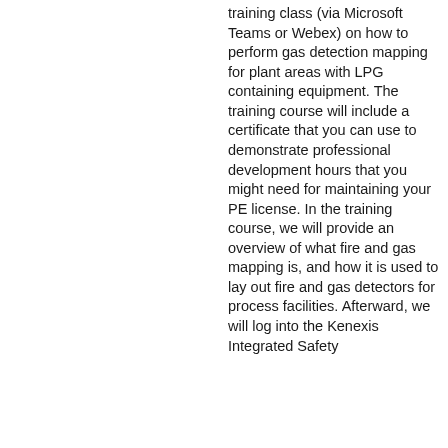training class (via Microsoft Teams or Webex) on how to perform gas detection mapping for plant areas with LPG containing equipment. The training course will include a certificate that you can use to demonstrate professional development hours that you might need for maintaining your PE license. In the training course, we will provide an overview of what fire and gas mapping is, and how it is used to lay out fire and gas detectors for process facilities. Afterward, we will log into the Kenexis Integrated Safety